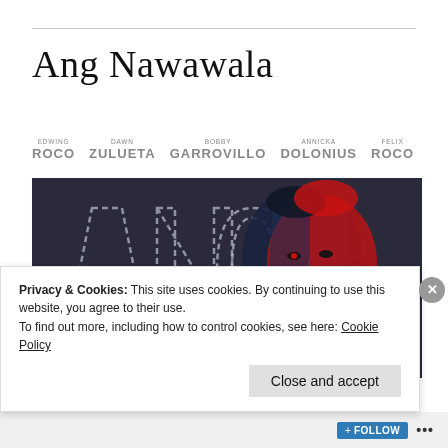Ang Nawawala
EDWING ROCO  DAWN ZULUETA  BOBBY GARROVILLO  ANNICKA DOLONIUS  FELIX ROCO
[Figure (photo): Movie poster for 'Ang Nawawala' showing stylized large dashed-outline letters ANG NA... overlaid with a split red/dark toned portrait photo of a young man]
Privacy & Cookies: This site uses cookies. By continuing to use this website, you agree to their use.
To find out more, including how to control cookies, see here: Cookie Policy
Close and accept